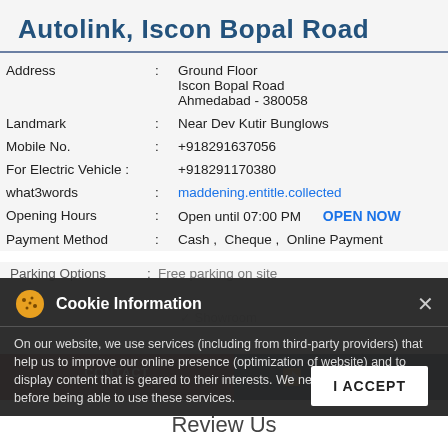Autolink, Iscon Bopal Road
| Address | : | Ground Floor
Iscon Bopal Road
Ahmedabad - 380058 |
| Landmark | : | Near Dev Kutir Bunglows |
| Mobile No. | : | +918291637056 |
| For Electric Vehicle | : | +918291170380 |
| what3words | : | maddening.entitle.collected |
| Opening Hours | : | Open until 07:00 PM   OPEN NOW |
| Payment Method | : | Cash ,  Cheque ,  Online Payment |
| Parking Options | : | Free parking on site |
[Figure (screenshot): Cookie Information overlay banner with text about website services and third-party providers, with I ACCEPT button and close (x) button]
Review Us